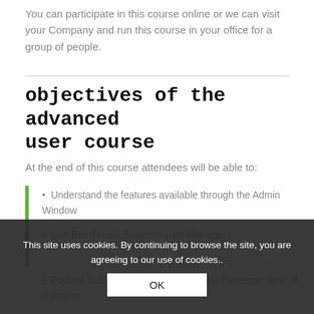You can participate in this course online or we can visit your Company and run this course in your office for a group of people.
objectives of the advanced user course
At the end of this course attendees will be able to:
Understand the features available through the Admin Window
Use Benchmark Subcontractor Manager
Explore Sub Totals/Group Totals at the Resource level of a project
This site uses cookies. By continuing to browse the site, you are agreeing to our use of cookies..